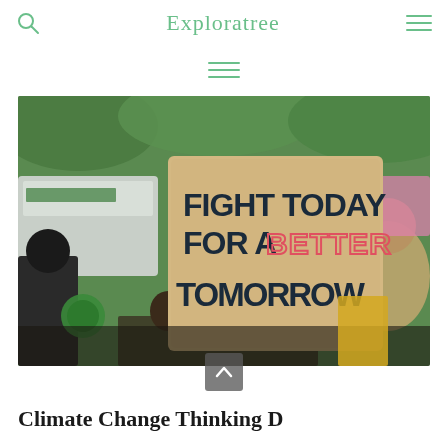Exploratree
[Figure (photo): Protest photo showing a cardboard sign reading 'FIGHT TODAY FOR A BETTER TOMORROW' held up at a climate rally, with crowd and green trees in background]
Climate Change Thinking D...